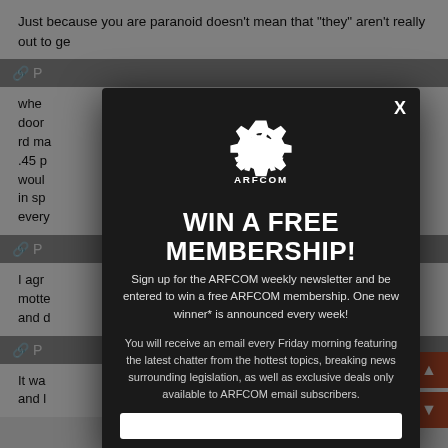Just because you are paranoid doesn't mean that "they" aren't really out to ge...
whe... ...o the door... ...30 rd ma... ...P220 .45 p... ...i woul... ...live in sp... ...ngs every...
I agr... ...My motte... ...it and d...
It wa... ...fe and l... ...s)
[Figure (screenshot): ARFCOM modal popup overlay with dark background showing a gear logo, 'WIN A FREE MEMBERSHIP!' headline, newsletter signup text, and email input field with close X button]